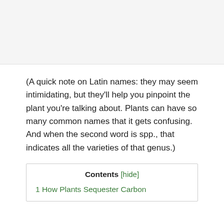[Figure (photo): Top portion of page showing a cropped image area with light grey background]
(A quick note on Latin names: they may seem intimidating, but they'll help you pinpoint the plant you're talking about. Plants can have so many common names that it gets confusing. And when the second word is spp., that indicates all the varieties of that genus.)
Contents [hide]
1 How Plants Sequester Carbon